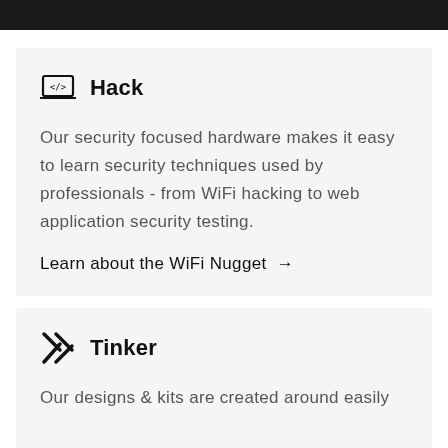Hack
Our security focused hardware makes it easy to learn security techniques used by professionals - from WiFi hacking to web application security testing.
Learn about the WiFi Nugget →
Tinker
Our designs & kits are created around easily